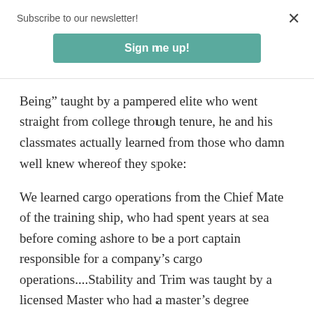Subscribe to our newsletter!
Sign me up!
Being” taught by a pampered elite who went straight from college through tenure, he and his classmates actually learned from those who damn well knew whereof they spoke:
We learned cargo operations from the Chief Mate of the training ship, who had spent years at sea before coming ashore to be a port captain responsible for a company’s cargo operations....Stability and Trim was taught by a licensed Master who had a master’s degree